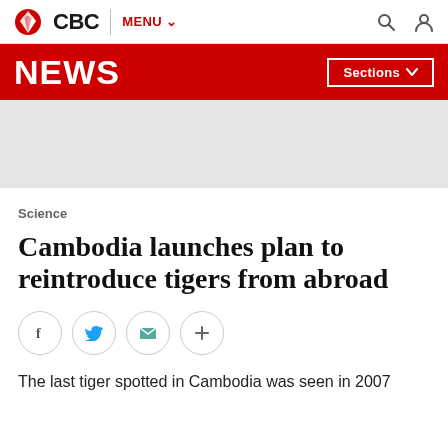CBC | MENU
NEWS | Sections
Science
Cambodia launches plan to reintroduce tigers from abroad
The last tiger spotted in Cambodia was seen in 2007